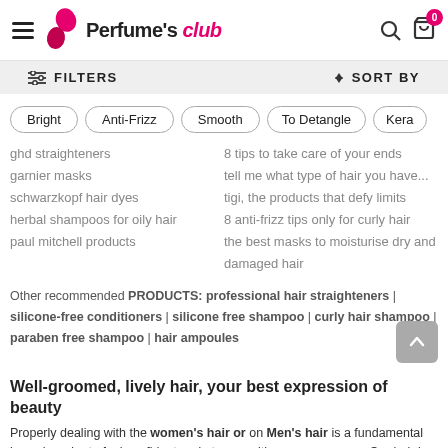Perfume's club
FILTERS   SORT BY
Bright | Anti-Frizz | Smooth | To Detangle | Kera
ghd straighteners
garnier masks
schwarzkopf hair dyes
herbal shampoos for oily hair
paul mitchell products
8 tips to take care of your ends
tell me what type of hair you have...
tigi, the products that defy limits
8 anti-frizz tips only for curly hair
the best masks to moisturise dry and damaged hair
Other recommended PRODUCTS: professional hair straighteners | silicone-free conditioners | silicone free shampoo | curly hair shampoo | paraben free shampoo | hair ampoules
Well-groomed, lively hair, your best expression of beauty
Properly dealing with the women's hair or on Men's hair is a fundamental issue in order to feel confident and at ease with our appearance. Our hair is part of